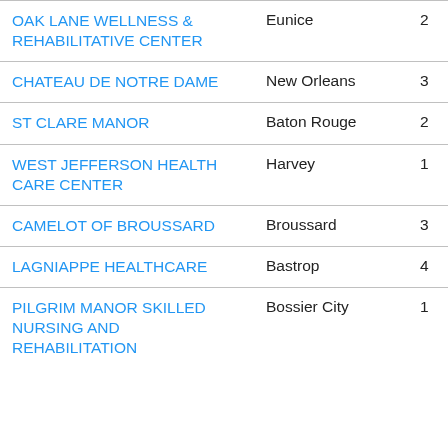| Name | City | Number |
| --- | --- | --- |
| OAK LANE WELLNESS & REHABILITATIVE CENTER | Eunice | 2 |
| CHATEAU DE NOTRE DAME | New Orleans | 3 |
| ST CLARE MANOR | Baton Rouge | 2 |
| WEST JEFFERSON HEALTH CARE CENTER | Harvey | 1 |
| CAMELOT OF BROUSSARD | Broussard | 3 |
| LAGNIAPPE HEALTHCARE | Bastrop | 4 |
| PILGRIM MANOR SKILLED NURSING AND REHABILITATION | Bossier City | 1 |